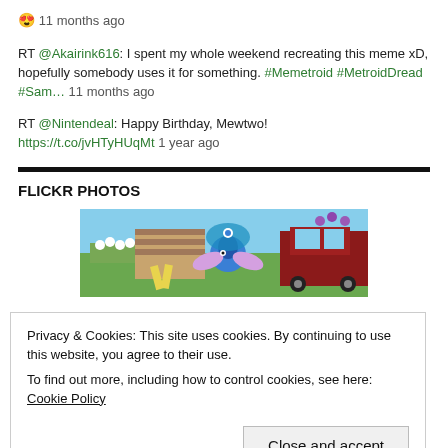😍 11 months ago
RT @Akairink616: I spent my whole weekend recreating this meme xD, hopefully somebody uses it for something. #Memetroid #MetroidDread #Sam… 11 months ago
RT @Nintendeal: Happy Birthday, Mewtwo! https://t.co/jvHTyHUqMt 1 year ago
FLICKR PHOTOS
[Figure (photo): A colorful video game screenshot showing Animal Crossing-style characters and scenery with a blue peacock-like character in the center, surrounded by flowers and a red vehicle.]
Privacy & Cookies: This site uses cookies. By continuing to use this website, you agree to their use.
To find out more, including how to control cookies, see here: Cookie Policy
Close and accept